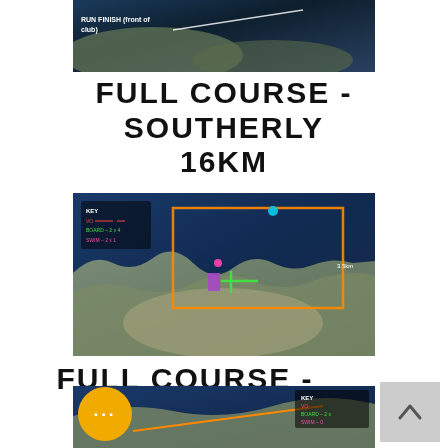[Figure (screenshot): Aerial/satellite map screenshot showing coastal area with text 'RUN FINISH (front of club)']
FULL COURSE - SOUTHERLY 16KM
[Figure (map): Aerial satellite map showing a course route over coastal water and land, with colored lines marking swim (pink), board (green), and run (red/orange) segments. KEY shows VO, BOARD - 2x4, SWIM - 2x1]
FULL COURSE - NORTHERLY 16KM
[Figure (screenshot): Partial aerial/satellite map screenshot showing start of northerly course with KEY legend showing BOARD and SWIM segments]